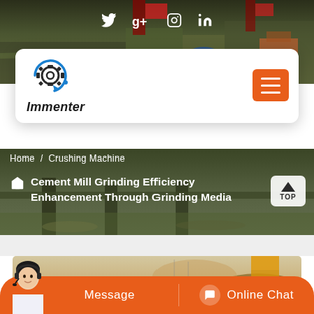[Figure (screenshot): Top banner with industrial factory background showing conveyor belts and machinery]
[Figure (logo): Immenter company logo with gear and circular arrow in blue, text reads Immenter]
[Figure (screenshot): Hamburger menu button in orange]
Home / Crushing Machine
Cement Mill Grinding Efficiency Enhancement Through Grinding Media
[Figure (photo): Industrial quarry or mining site with rocky terrain and yellow heavy machinery]
Message
Online Chat